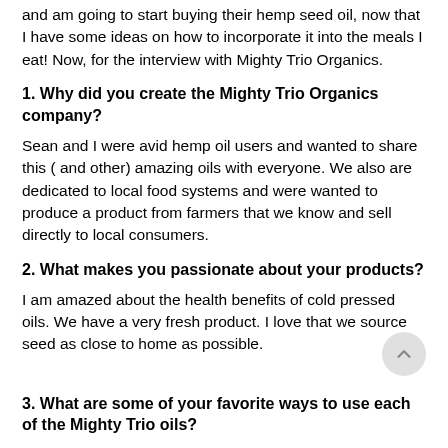and am going to start buying their hemp seed oil, now that I have some ideas on how to incorporate it into the meals I eat! Now, for the interview with Mighty Trio Organics.
1. Why did you create the Mighty Trio Organics company?
Sean and I were avid hemp oil users and wanted to share this ( and other) amazing oils with everyone. We also are dedicated to local food systems and were wanted to produce a product from farmers that we know and sell directly to local consumers.
2. What makes you passionate about your products?
I am amazed about the health benefits of cold pressed oils. We have a very fresh product. I love that we source seed as close to home as possible.
3. What are some of your favorite ways to use each of the Mighty Trio oils?